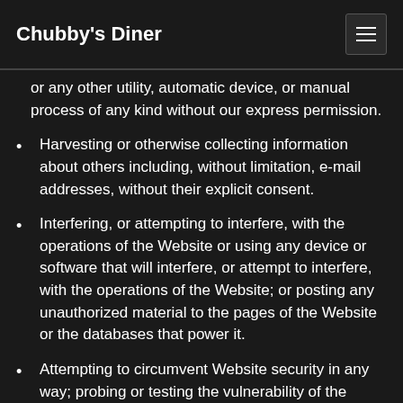Chubby's Diner
or any other utility, automatic device, or manual process of any kind without our express permission.
Harvesting or otherwise collecting information about others including, without limitation, e-mail addresses, without their explicit consent.
Interfering, or attempting to interfere, with the operations of the Website or using any device or software that will interfere, or attempt to interfere, with the operations of the Website; or posting any unauthorized material to the pages of the Website or the databases that power it.
Attempting to circumvent Website security in any way; probing or testing the vulnerability of the Website or any network connected to the Website; or hacking, breaching, or attempting to breach any part of the